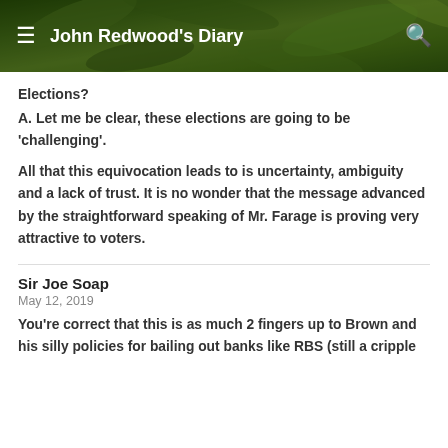John Redwood's Diary
Elections?
A. Let me be clear, these elections are going to be 'challenging'.
All that this equivocation leads to is uncertainty, ambiguity and a lack of trust. It is no wonder that the message advanced by the straightforward speaking of Mr. Farage is proving very attractive to voters.
Sir Joe Soap
May 12, 2019
You're correct that this is as much 2 fingers up to Brown and his silly policies for bailing out banks like RBS (still a cripple